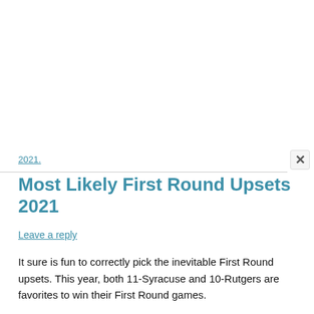2021.
Most Likely First Round Upsets 2021
Leave a reply
It sure is fun to correctly pick the inevitable First Round upsets. This year, both 11-Syracuse and 10-Rutgers are favorites to win their First Round games.
Unfortunately, the prospect of a 12-5 upset isn't as high as it usually is. We can normally count on at least one. In 2019, we